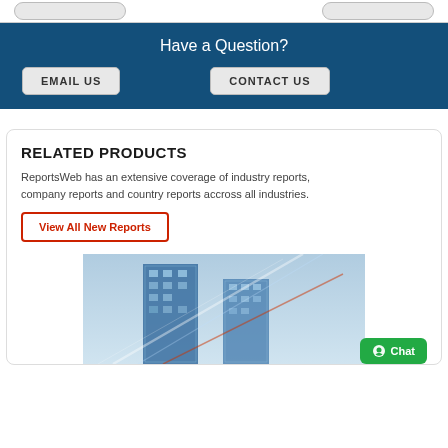[Figure (screenshot): Two rounded rectangle buttons side by side at top of page]
Have a Question?
EMAIL US
CONTACT US
RELATED PRODUCTS
ReportsWeb has an extensive coverage of industry reports, company reports and country reports accross all industries.
View All New Reports
[Figure (photo): Photo of modern glass skyscrapers with light beam diagonal effects, blue tones]